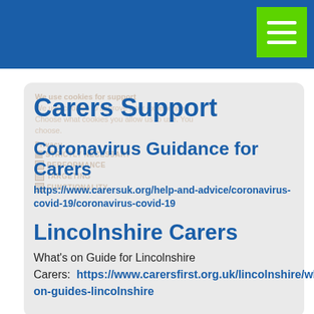Carers Support
Coronavirus Guidance for Carers
https://www.carersuk.org/help-and-advice/coronavirus-covid-19/coronavirus-covid-19
Lincolnshire Carers
What's on Guide for Lincolnshire Carers:  https://www.carersfirst.org.uk/lincolnshire/whats-on-guides-lincolnshire